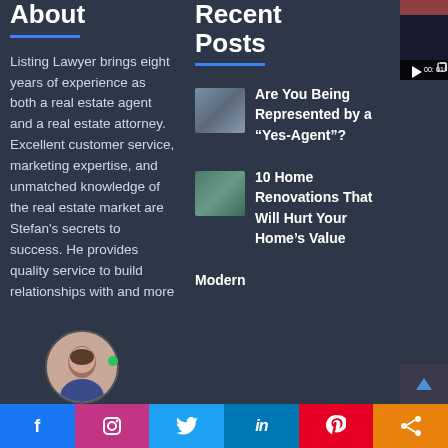About
Listing Lawyer brings eight years of experience as both a real estate agent and a real estate attorney. Excellent customer service, marketing expertise, and unmatched knowledge of the real estate market are Stefan's secrets to success. He provides quality service to build relationships with and more
Recent Posts
Are You Being Represented by a “Yes-Agent”?
10 Home Renovations That Will Hurt Your Home’s Value
Modern
[Figure (screenshot): Video player thumbnail with play button and timestamp showing 00: and 01:]
[Figure (photo): Circular profile photo of a woman]
Facebook | Instagram | Twitter | LinkedIn | Pinterest | Share